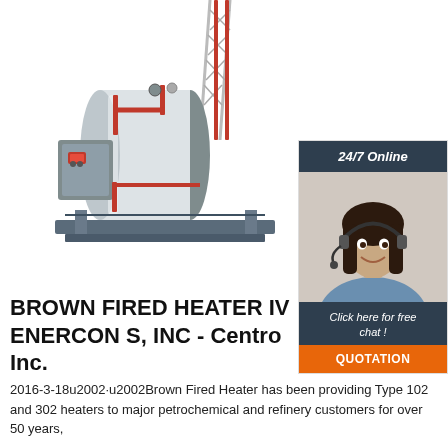[Figure (photo): Industrial fired heater / boiler unit on a skid frame, with a large cylindrical white pressure vessel, red piping, gray burner box, and a tall lattice tower structure in the background.]
[Figure (photo): 24/7 Online chat widget showing a smiling female customer service agent wearing a headset, with a dark navy header reading '24/7 Online', a navy footer reading 'Click here for free chat !', and an orange button labeled 'QUOTATION'.]
BROWN FIRED HEATER IV ENERCON S, INC - Centro Inc.
2016-3-18u2002·u2002Brown Fired Heater has been providing Type 102 and 302 heaters to major petrochemical and refinery customers for over 50 years,